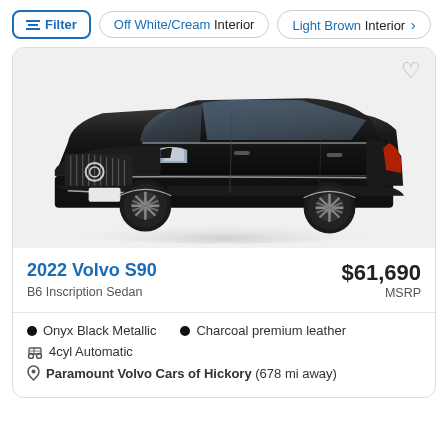Filter | Off White/Cream Interior | Light Brown Interior
[Figure (photo): 2022 Volvo S90 B6 Inscription Sedan in Onyx Black Metallic, front three-quarter view on white background]
2022 Volvo S90
B6 Inscription Sedan
$61,690 MSRP
Onyx Black Metallic
Charcoal premium leather
4cyl Automatic
Paramount Volvo Cars of Hickory (678 mi away)